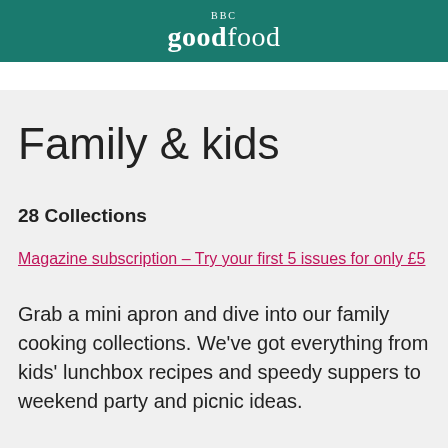BBC Good Food
Family & kids
28 Collections
Magazine subscription – Try your first 5 issues for only £5
Grab a mini apron and dive into our family cooking collections. We've got everything from kids' lunchbox recipes and speedy suppers to weekend party and picnic ideas.
[Figure (illustration): Social sharing icons: Facebook (dark blue), Twitter (light blue), Pinterest (dark red/crimson), Email (magenta/pink), and a close/X button (dark grey circle with X)]